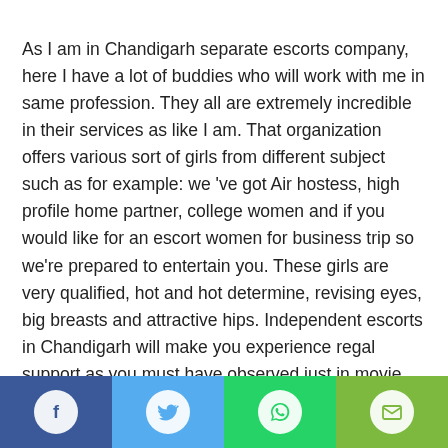As I am in Chandigarh separate escorts company, here I have a lot of buddies who will work with me in same profession. They all are extremely incredible in their services as like I am. That organization offers various sort of girls from different subject such as for example: we 've got Air hostess, high profile home partner, college women and if you would like for an escort women for business trip so we're prepared to entertain you. These girls are very qualified, hot and hot determine, revising eyes, big breasts and attractive hips. Independent escorts in Chandigarh will make you experience regal support as you must have observed just in movie but you are able to feel entertainment in your real life because these high
[Figure (infographic): Social share bar with four buttons: Facebook (dark blue), Twitter (light blue), WhatsApp (green), Email (olive green), each with a white circular icon.]